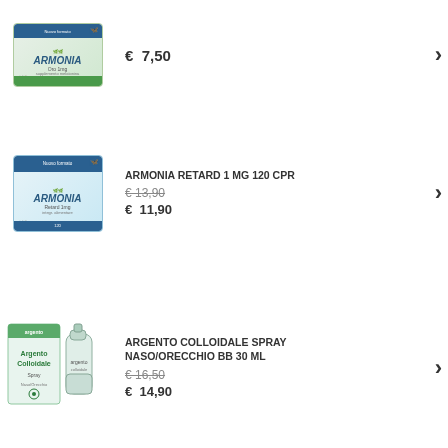[Figure (photo): Armonia Oro product box - pharmaceutical supplement]
€ 7,50
[Figure (photo): Armonia Retard 1mg product box - pharmaceutical supplement, 120 tablets]
ARMONIA RETARD 1 MG 120 CPR
€ 13,90
€ 11,90
[Figure (photo): Argento Colloidale Spray Naso/Orecchio BB 30ml - silver colloidal nasal/ear spray product]
ARGENTO COLLOIDALE SPRAY NASO/ORECCHIO BB 30 ML
€ 16,50
€ 14,90